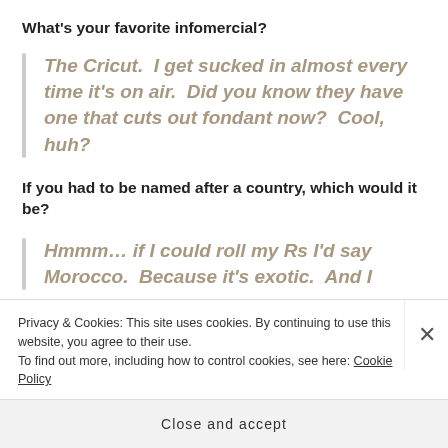What’s your favorite infomercial?
The Cricut.  I get sucked in almost every time it’s on air.  Did you know they have one that cuts out fondant now?  Cool, huh?
If you had to be named after a country, which would it be?
Hmmm… if I could roll my Rs I’d say Morocco.  Because it’s exotic.  And I
Privacy & Cookies: This site uses cookies. By continuing to use this website, you agree to their use.
To find out more, including how to control cookies, see here: Cookie Policy
Close and accept